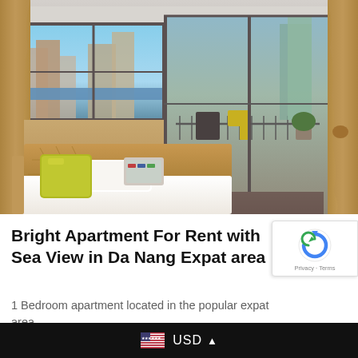[Figure (photo): Interior photo of a bright apartment bedroom with sea view. Large bed with white bedding and yellow/green pillow, wooden headboard, floor-to-ceiling windows on left showing city buildings and ocean view, sliding glass doors on right opening to a balcony with seating area, warm beige/tan curtains, tray ceiling.]
Bright Apartment For Rent with Sea View in Da Nang Expat area
1 Bedroom apartment located in the popular expat area
USD ▲